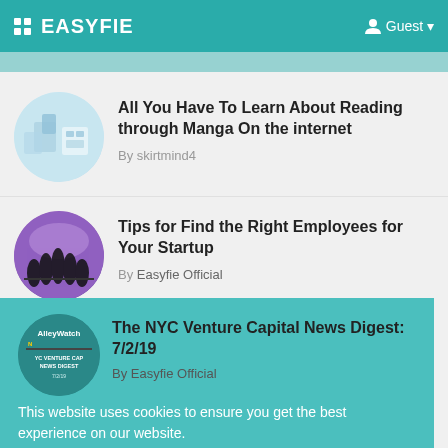EASYFIE   Guest
[Figure (illustration): Circular thumbnail image with abstract blue/white building or tech graphic]
All You Have To Learn About Reading through Manga On the internet
By skirtmind4
[Figure (illustration): Circular thumbnail with silhouettes of team pulling rope on purple gradient background]
Tips for Find the Right Employees for Your Startup
By Easyfie Official
[Figure (illustration): NYC Venture Capital News Digest circular logo with AlleyWatch branding]
The NYC Venture Capital News Digest: 7/2/19
By Easyfie Official
This website uses cookies to ensure you get the best experience on our website.
Learn More   Got It!
Tips for Find the Right Employees for Your Startup